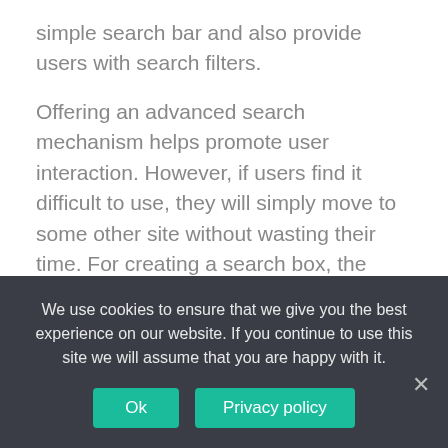simple search bar and also provide users with search filters.
Offering an advanced search mechanism helps promote user interaction. However, if users find it difficult to use, they will simply move to some other site without wasting their time. For creating a search box, the best option Expertrec.
1. Place your search box where users expect to find it
Users scan websites in an F pattern. To make the search bar easily discoverable, you need to place it within this pattern. This is where users will be
We use cookies to ensure that we give you the best experience on our website. If you continue to use this site we will assume that you are happy with it.